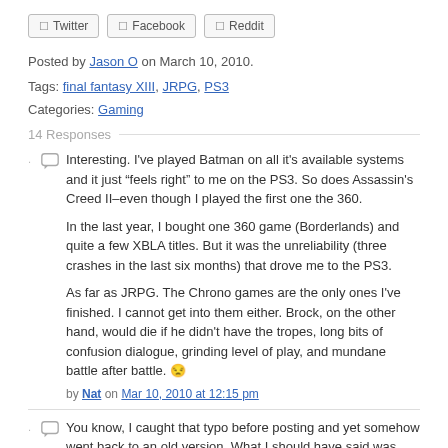☐ Twitter  ☐ Facebook  ☐ Reddit
Posted by Jason O on March 10, 2010.
Tags: final fantasy XIII, JRPG, PS3
Categories: Gaming
14 Responses
Interesting. I've played Batman on all it's available systems and it just "feels right" to me on the PS3. So does Assassin's Creed II–even though I played the first one the 360.

In the last year, I bought one 360 game (Borderlands) and quite a few XBLA titles. But it was the unreliability (three crashes in the last six months) that drove me to the PS3.

As far as JRPG. The Chrono games are the only ones I've finished. I cannot get into them either. Brock, on the other hand, would die if he didn't have the tropes, long bits of confusion dialogue, grinding level of play, and mundane battle after battle. 😑
by Nat on Mar 10, 2010 at 12:15 pm
You know, I caught that typo before posting and yet somehow went back to an old version. What I should have said was Arkham Asylum felt right on the